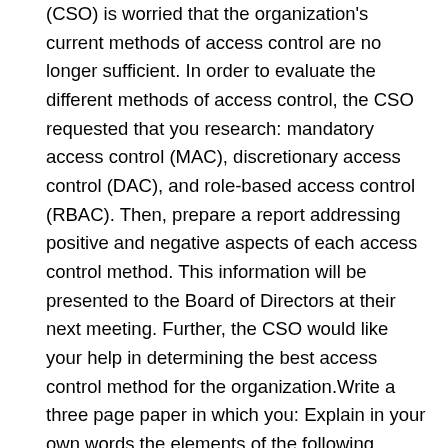(CSO) is worried that the organization's current methods of access control are no longer sufficient. In order to evaluate the different methods of access control, the CSO requested that you research: mandatory access control (MAC), discretionary access control (DAC), and role-based access control (RBAC). Then, prepare a report addressing positive and negative aspects of each access control method. This information will be presented to the Board of Directors at their next meeting. Further, the CSO would like your help in determining the best access control method for the organization.Write a three page paper in which you: Explain in your own words the elements of the following methods of access control:Mandatory access control (MAC)Discretionary access control (DAC)Role-based access control (RBAC)Compare and contrast the positive and negative aspects of employing a MAC, DAC, and RBAC.Suggest methods to mitigate the negative aspects for MAC, DAC, and